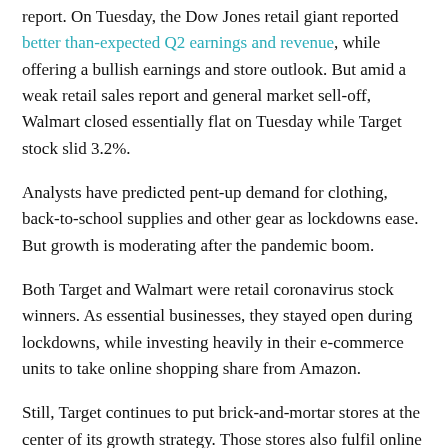report. On Tuesday, the Dow Jones retail giant reported better than-expected Q2 earnings and revenue, while offering a bullish earnings and store outlook. But amid a weak retail sales report and general market sell-off, Walmart closed essentially flat on Tuesday while Target stock slid 3.2%.
Analysts have predicted pent-up demand for clothing, back-to-school supplies and other gear as lockdowns ease. But growth is moderating after the pandemic boom.
Both Target and Walmart were retail coronavirus stock winners. As essential businesses, they stayed open during lockdowns, while investing heavily in their e-commerce units to take online shopping share from Amazon.
Still, Target continues to put brick-and-mortar stores at the center of its growth strategy. Those stores also fulfil online orders. Its widely hailed multipronged delivery strategy includes in-store pickup and curbside pickup.